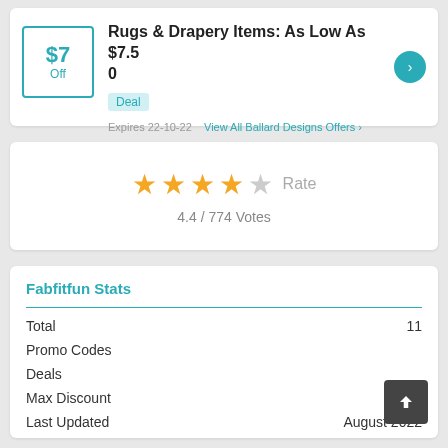Rugs & Drapery Items: As Low As $7.50
Deal
Expires 22-10-22   View All Ballard Designs Offers >
4.4 / 774 Votes
Fabfitfun Stats
|  |  |
| --- | --- |
| Total | 11 |
| Promo Codes |  |
| Deals |  |
| Max Discount |  |
| Last Updated | August 2022 |